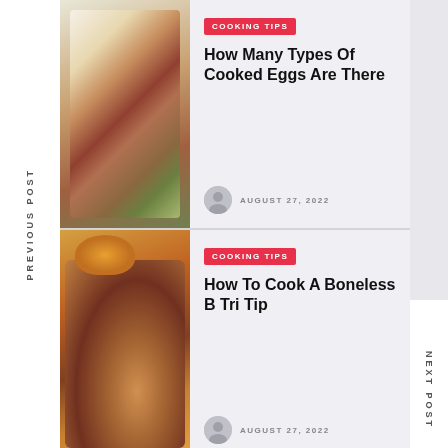PREVIOUS POST
[Figure (photo): Photo of sliced tri tip steak with herb topping on a white plate, with a cookbook in the background]
COOKING TIPS
How Many Types Of Cooked Eggs Are There
AUGUST 27, 2022
[Figure (photo): Photo of cooked meat dish with roasted potatoes and vegetables with brown gravy sauce]
COOKING TIPS
How To Cook A Boneless B Tri Tip
AUGUST 27, 2022
NEXT POST